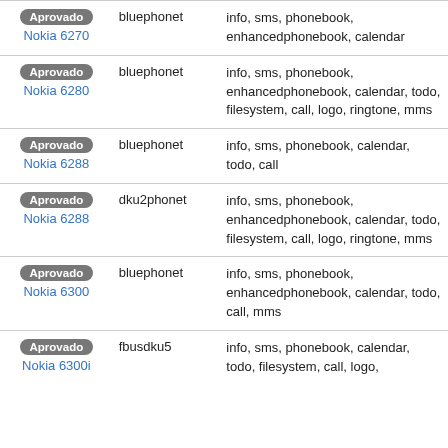| Status / Device | Driver | Features |
| --- | --- | --- |
| Aprovado
Nokia 6270 | bluephonet | info, sms, phonebook, enhancedphonebook, calendar |
| Aprovado
Nokia 6280 | bluephonet | info, sms, phonebook, enhancedphonebook, calendar, todo, filesystem, call, logo, ringtone, mms |
| Aprovado
Nokia 6288 | bluephonet | info, sms, phonebook, calendar, todo, call |
| Aprovado
Nokia 6288 | dku2phonet | info, sms, phonebook, enhancedphonebook, calendar, todo, filesystem, call, logo, ringtone, mms |
| Aprovado
Nokia 6300 | bluephonet | info, sms, phonebook, enhancedphonebook, calendar, todo, call, mms |
| Aprovado
Nokia 6300i | fbusdku5 | info, sms, phonebook, calendar, todo, filesystem, call, logo, |